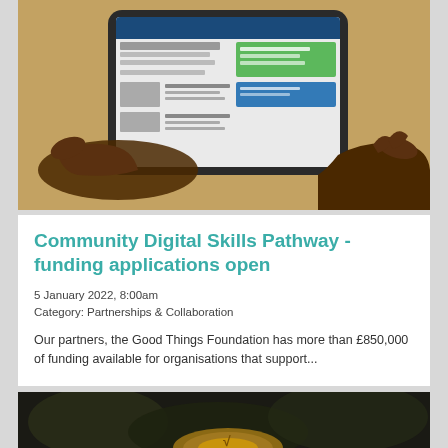[Figure (photo): Hands holding a tablet device displaying a website, on a wooden desk surface.]
Community Digital Skills Pathway - funding applications open
5 January 2022, 8:00am
Category: Partnerships & Collaboration
Our partners, the Good Things Foundation has more than £850,000 of funding available for organisations that support...
[Figure (photo): Dark background photo, partially visible, appears to show outdoor nature scene with round wooden element.]